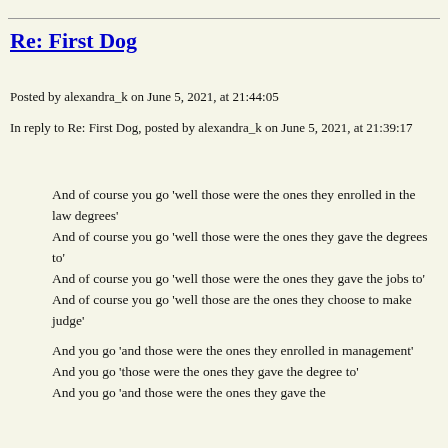Re: First Dog
Posted by alexandra_k on June 5, 2021, at 21:44:05
In reply to Re: First Dog, posted by alexandra_k on June 5, 2021, at 21:39:17
And of course you go 'well those were the ones they enrolled in the law degrees'
And of course you go 'well those were the ones they gave the degrees to'
And of course you go 'well those were the ones they gave the jobs to'
And of course you go 'well those are the ones they choose to make judge'

And you go 'and those were the ones they enrolled in management'
And you go 'those were the ones they gave the degree to'
And you go 'and those were the ones they gave the